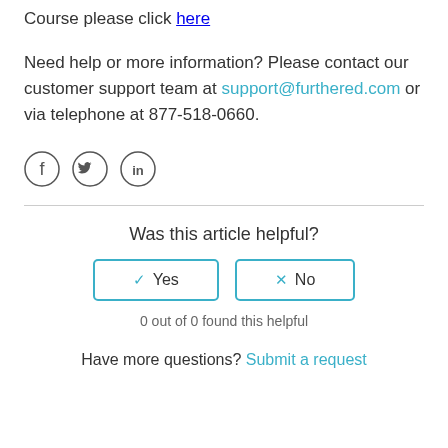Course please click here
Need help or more information? Please contact our customer support team at support@furthered.com or via telephone at 877-518-0660.
[Figure (illustration): Social media icons: Facebook, Twitter, LinkedIn in circles]
Was this article helpful?
Yes | No buttons
0 out of 0 found this helpful
Have more questions? Submit a request